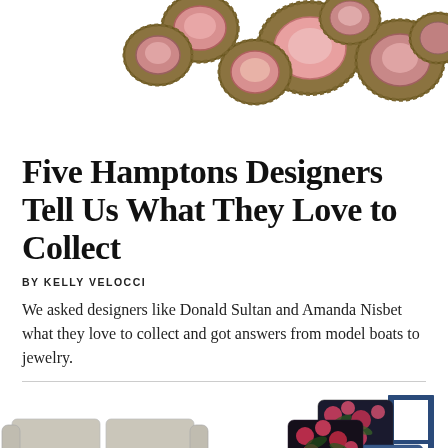[Figure (photo): Close-up photo of ornate gold and pink gemstone jewelry pieces arranged in a cluster at the top of the page]
Five Hamptons Designers Tell Us What They Love to Collect
BY KELLY VELOCCI
We asked designers like Donald Sultan and Amanda Nisbet what they love to collect and got answers from model boats to jewelry.
[Figure (photo): Bottom left: a light grey/silver leather sofa. Bottom right: colorful floral patterned pillows and cushions stacked together.]